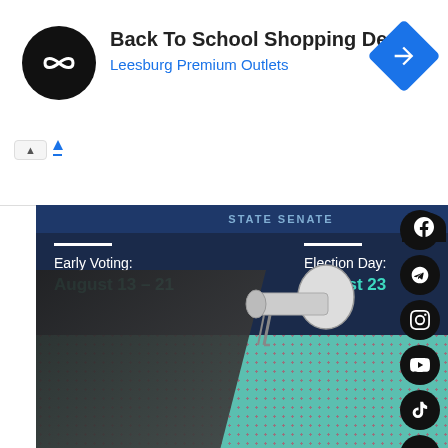[Figure (screenshot): Advertisement banner: Back To School Shopping Deals at Leesburg Premium Outlets with a circular logo and blue diamond navigation icon]
Back To School Shopping Deals
Leesburg Premium Outlets
[Figure (infographic): Vote NYC campaign poster showing a person with a megaphone against a teal and red halftone background. Dark navy header with early voting and election day info. Early Voting: August 13-21, Election Day: August 23. Vote NYC sticker badge at bottom right.]
Early Voting: August 13 – 21
Election Day: August 23